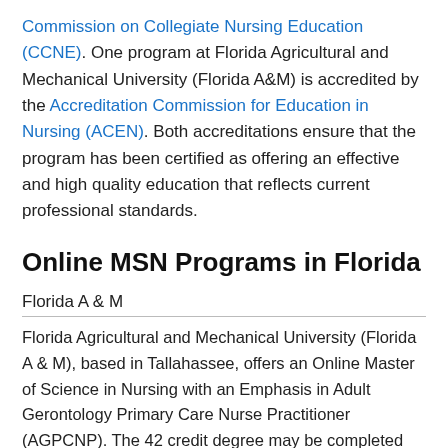Commission on Collegiate Nursing Education (CCNE). One program at Florida Agricultural and Mechanical University (Florida A&M) is accredited by the Accreditation Commission for Education in Nursing (ACEN). Both accreditations ensure that the program has been certified as offering an effective and high quality education that reflects current professional standards.
Online MSN Programs in Florida
Florida A & M
Florida Agricultural and Mechanical University (Florida A & M), based in Tallahassee, offers an Online Master of Science in Nursing with an Emphasis in Adult Gerontology Primary Care Nurse Practitioner (AGPCNP). The 42 credit degree may be completed online on a full or part-time basis. Students who